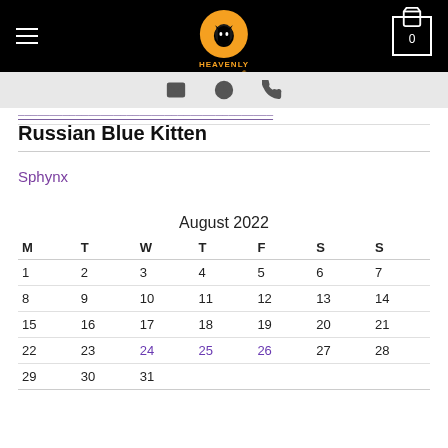Heavenly Kittens — navigation header with logo, hamburger menu, and cart
icons: email, clock, phone
breadcrumb link (truncated)
Russian Blue Kitten
Sphynx
| M | T | W | T | F | S | S |
| --- | --- | --- | --- | --- | --- | --- |
| 1 | 2 | 3 | 4 | 5 | 6 | 7 |
| 8 | 9 | 10 | 11 | 12 | 13 | 14 |
| 15 | 16 | 17 | 18 | 19 | 20 | 21 |
| 22 | 23 | 24 | 25 | 26 | 27 | 28 |
| 29 | 30 | 31 |  |  |  |  |